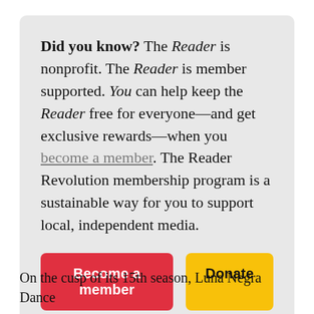Did you know? The Reader is nonprofit. The Reader is member supported. You can help keep the Reader free for everyone—and get exclusive rewards—when you become a member. The Reader Revolution membership program is a sustainable way for you to support local, independent media.
On the cusp of its 15th season, Luna Negra Dance